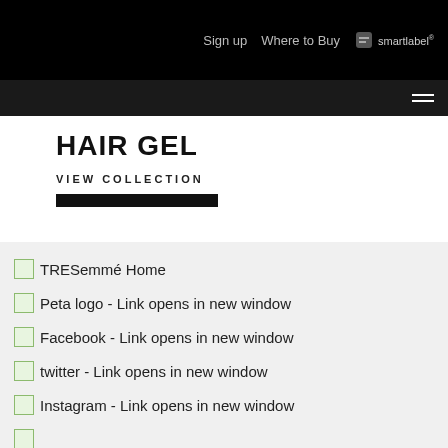Sign up   Where to Buy   smartlabel
HAIR GEL
VIEW COLLECTION
TRESemmé Home
Peta logo - Link opens in new window
Facebook - Link opens in new window
twitter - Link opens in new window
Instagram - Link opens in new window